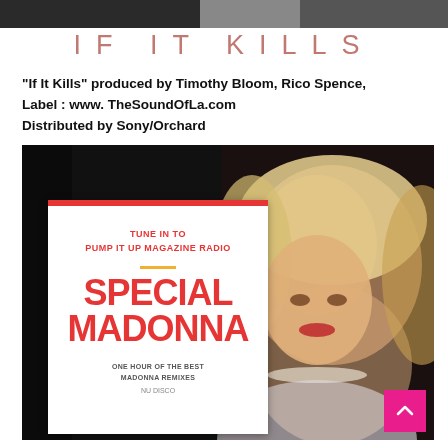[Figure (photo): Top portion of a photo, dark background showing partial view]
IF IT KILLS
"If It Kills" produced by Timothy Bloom, Rico Spence, Label : www. TheSoundOfLa.com Distributed by Sony/Orchard
[Figure (photo): Promotional image: Left side shows a white magazine-style card for Pump It Up Magazine Radio Special Madonna feature (one hour of the best Madonna remixes, Nu Disco). Right side shows a close-up photo of Madonna with blonde curly hair, red lips, and a diamond necklace. Pink scroll-to-top button in bottom right corner.]